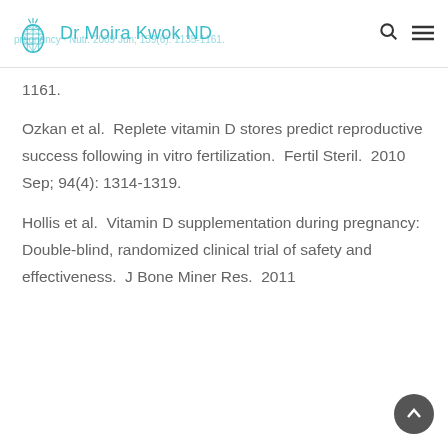Dr Moira Kwok ND
1161.
Ozkan et al.  Replete vitamin D stores predict reproductive success following in vitro fertilization.  Fertil Steril.  2010 Sep; 94(4): 1314-1319.
Hollis et al.  Vitamin D supplementation during pregnancy: Double-blind, randomized clinical trial of safety and effectiveness.  J Bone Miner Res.  2011